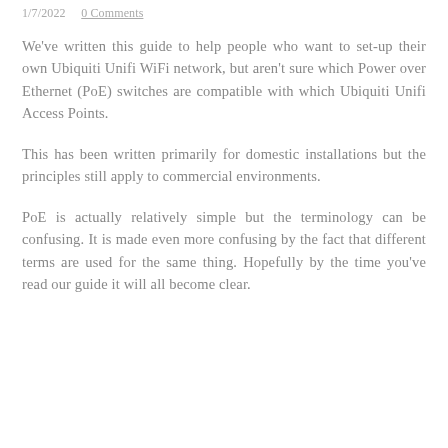1/7/2022    0 Comments
We've written this guide to help people who want to set-up their own Ubiquiti Unifi WiFi network, but aren't sure which Power over Ethernet (PoE) switches are compatible with which Ubiquiti Unifi Access Points.
This has been written primarily for domestic installations but the principles still apply to commercial environments.
PoE is actually relatively simple but the terminology can be confusing. It is made even more confusing by the fact that different terms are used for the same thing. Hopefully by the time you've read our guide it will all become clear.